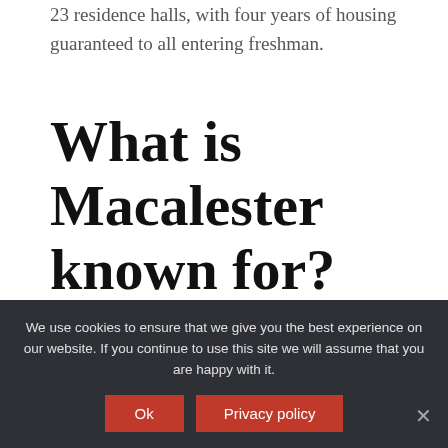23 residence halls, with four years of housing guaranteed to all entering freshman.
What is Macalester known for?
The most popular majors at Macalester College include: Social Sciences; Computer and Information Sciences and Support Services; Biological and Biomedical Sciences; Mathematics and Statistics; and Multi/Interdisciplinary Studies. The average
We use cookies to ensure that we give you the best experience on our website. If you continue to use this site we will assume that you are happy with it.